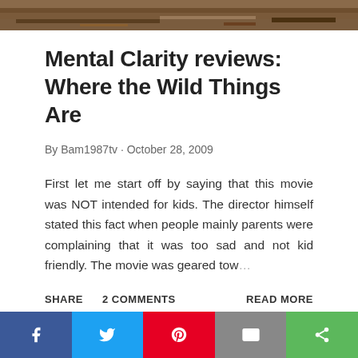[Figure (photo): Partial photo of furry creatures or wild animals, cropped at top of page]
Mental Clarity reviews: Where the Wild Things Are
By Bam1987tv · October 28, 2009
First let me start off by saying that this movie was NOT intended for kids. The director himself stated this fact when people mainly parents were complaining that it was too sad and not kid friendly. The movie was geared tow …
SHARE   2 COMMENTS   READ MORE
[Figure (infographic): Social sharing bar with Facebook, Twitter, Pinterest, Email, and Share buttons]